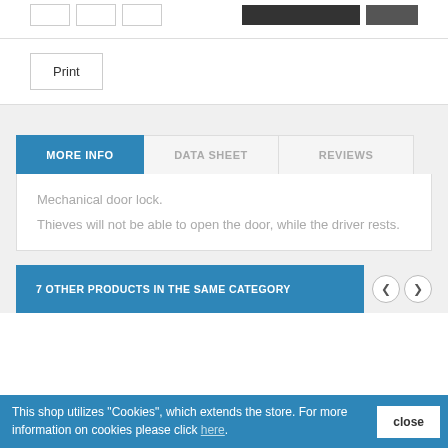[Figure (screenshot): Top row with quantity box, add to cart button (dark), and wishlist button]
Print
MORE INFO
DATA SHEET
REVIEWS
Mechanical door lock.
Thieves will not be able to open the door, while the driver rests.
7 OTHER PRODUCTS IN THE SAME CATEGORY
This shop utilizes "Cookies", which extends the store. For more information on cookies please click here.